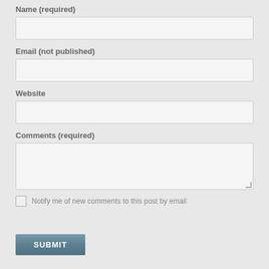Name (required)
[Figure (other): Text input field for Name]
Email (not published)
[Figure (other): Text input field for Email]
Website
[Figure (other): Text input field for Website]
Comments (required)
[Figure (other): Textarea input field for Comments]
Notify me of new comments to this post by email
SUBMIT